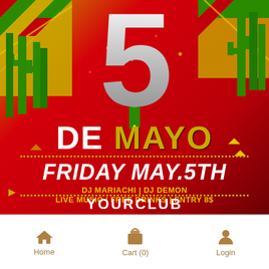[Figure (illustration): Cinco de Mayo event flyer with large silver '5', cacti, red/yellow/green background with geometric patterns, text 'DE MAYO', 'FRIDAY MAY.5TH', 'DJ MARIACHI | DJ DEMON', 'LIVE MUSIC | FREE DRINKS | ENTRY 8$', 'YOURCLUB']
Home   Cart (0)   Login